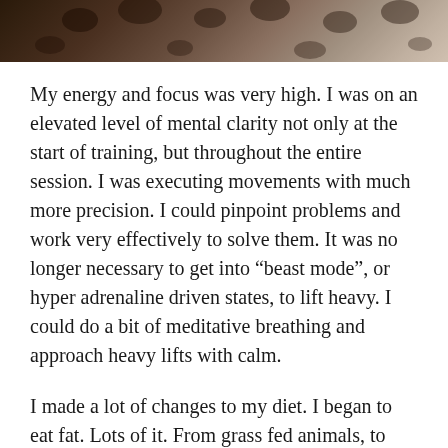[Figure (photo): Top portion of a photo showing what appears to be an animal (possibly a leopard or dalmatian), cropped at the top of the page]
My energy and focus was very high. I was on an elevated level of mental clarity not only at the start of training, but throughout the entire session. I was executing movements with much more precision. I could pinpoint problems and work very effectively to solve them. It was no longer necessary to get into “beast mode”, or hyper adrenaline driven states, to lift heavy. I could do a bit of meditative breathing and approach heavy lifts with calm.
I made a lot of changes to my diet. I began to eat fat. Lots of it. From grass fed animals, to wild fish, avocados, and eggs, I tried to obtain the best quality fats and ate as much as I